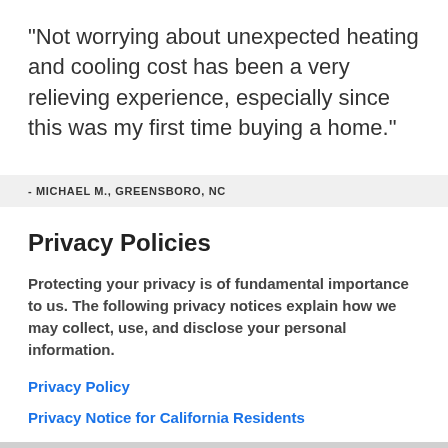"Not worrying about unexpected heating and cooling cost has been a very relieving experience, especially since this was my first time buying a home."
- MICHAEL M., GREENSBORO, NC
Privacy Policies
Protecting your privacy is of fundamental importance to us. The following privacy notices explain how we may collect, use, and disclose your personal information.
Privacy Policy
Privacy Notice for California Residents
OKAY